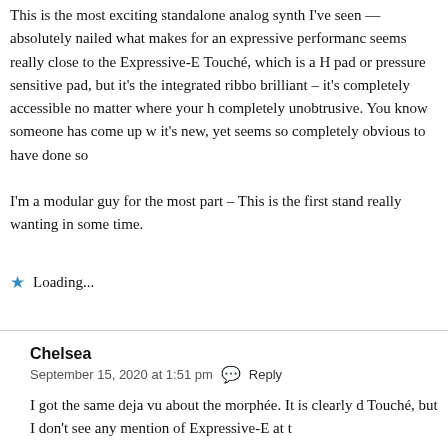This is the most exciting standalone analog synth I've seen — absolutely nailed what makes for an expressive performance seems really close to the Expressive-E Touché, which is a H pad or pressure sensitive pad, but it's the integrated ribbo brilliant – it's completely accessible no matter where your h completely unobtrusive. You know someone has come up w it's new, yet seems so completely obvious to have done so
I'm a modular guy for the most part – This is the first stand really wanting in some time.
Loading...
Chelsea
September 15, 2020 at 1:51 pm  Reply
I got the same deja vu about the morphée. It is clearly d Touché, but I don't see any mention of Expressive-E at t
Is this like the 'collaboration' that Arturia did with Muta